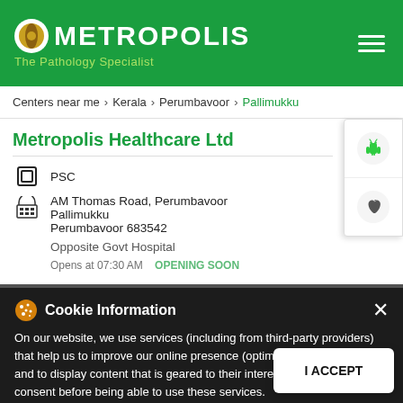METROPOLIS The Pathology Specialist
Centers near me > Kerala > Perumbavoor > Pallimukku
Metropolis Healthcare Ltd
PSC
AM Thomas Road, Perumbavoor Pallimukku Perumbavoor 683542
Opposite Govt Hospital
Opens at 07:30 AM   OPENING SOON
Cookie Information
On our website, we use services (including from third-party providers) that help us to improve our online presence (optimization of website) and to display content that is geared to their interests. We need your consent before being able to use these services.
I ACCEPT
Call Us   Book Home Visit   Directions